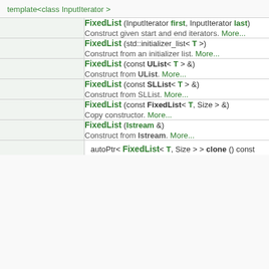template<class InputIterator >
|  | FixedList (InputIterator first, InputIterator last)
Construct given start and end iterators. More... |
|  | FixedList (std::initializer_list< T >)
Construct from an initializer list. More... |
|  | FixedList (const UList< T > &)
Construct from UList. More... |
|  | FixedList (const SLList< T > &)
Construct from SLList. More... |
|  | FixedList (const FixedList< T, Size > &)
Copy constructor. More... |
|  | FixedList (Istream &)
Construct from Istream. More... |
autoPtr< FixedList< T, Size > > clone () const